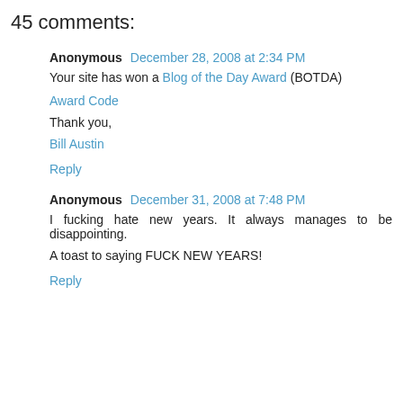45 comments:
Anonymous December 28, 2008 at 2:34 PM
Your site has won a Blog of the Day Award (BOTDA)

Award Code

Thank you,

Bill Austin
Reply
Anonymous December 31, 2008 at 7:48 PM
I fucking hate new years. It always manages to be disappointing.

A toast to saying FUCK NEW YEARS!
Reply